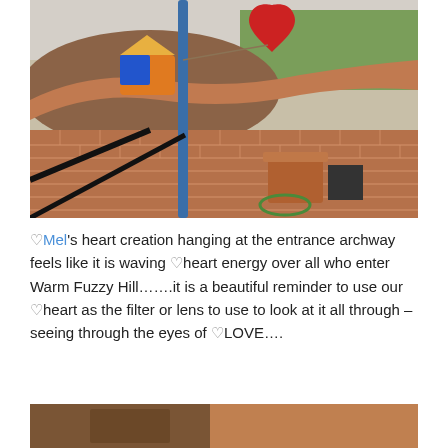[Figure (photo): Outdoor garden scene with brick paving, a blue metal pole, a red heart-shaped sculpture hanging at an archway entrance, a colorful tent in the background, raised flower beds with brick edging, and a terracotta pot in the foreground.]
♡Mel's heart creation hanging at the entrance archway feels like it is waving ♡heart energy over all who enter Warm Fuzzy Hill…….it is a beautiful reminder to use our ♡heart as the filter or lens to use to look at it all through – seeing through the eyes of ♡LOVE….
[Figure (photo): Partial view of a second photo, cropped, showing what appears to be an indoor or outdoor scene with warm tones.]